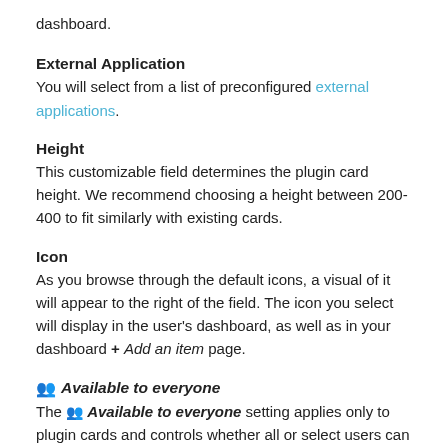dashboard.
External Application
You will select from a list of preconfigured external applications.
Height
This customizable field determines the plugin card height. We recommend choosing a height between 200-400 to fit similarly with existing cards.
Icon
As you browse through the default icons, a visual of it will appear to the right of the field. The icon you select will display in the user's dashboard, as well as in your dashboard + Add an item page.
Available to everyone
The Available to everyone setting applies only to plugin cards and controls whether all or select users can view an